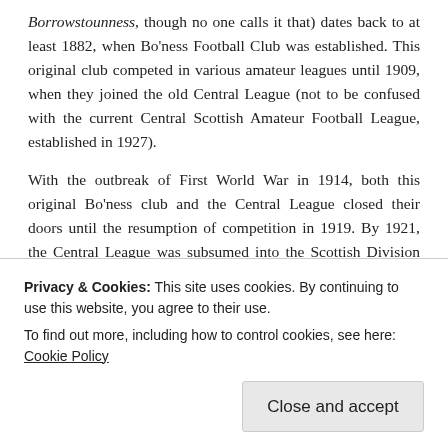Borrowstounness, though no one calls it that) dates back to at least 1882, when Bo'ness Football Club was established. This original club competed in various amateur leagues until 1909, when they joined the old Central League (not to be confused with the current Central Scottish Amateur Football League, established in 1927).
With the outbreak of First World War in 1914, both this original Bo'ness club and the Central League closed their doors until the resumption of competition in 1919. By 1921, the Central League was subsumed into the Scottish Division Two and Bo'ness enjoyed relative success, even winning the league in the 1926/27 season and gaining promotion to the Scottish First Division with second-place Raith Rovers. The following season, the Rovers were able to retain their place in the top tier, though, unfortunately, Bo'ness came second-bottom and
Privacy & Cookies: This site uses cookies. By continuing to use this website, you agree to their use.
To find out more, including how to control cookies, see here: Cookie Policy